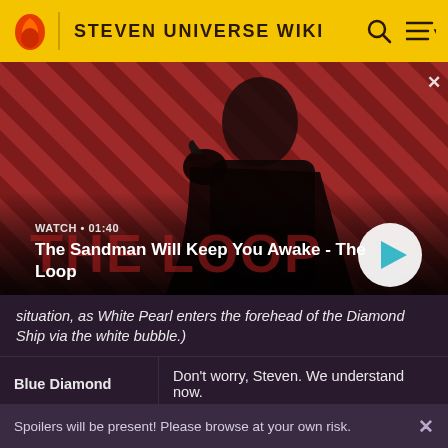STEVEN UNIVERSE WIKI
[Figure (screenshot): Video thumbnail showing a dark figure with a raven on their shoulder against a red and black diagonal striped background. Text shows 'WATCH • 01:40' and title 'The Sandman Will Keep You Awake - The Loop' with a play button.]
situation, as White Pearl enters the forehead of the Diamond Ship via the white bubble.)
| Speaker | Dialogue |
| --- | --- |
| Blue Diamond | Don't worry, Steven. We understand now. |
Spoilers will be present! Please browse at your own risk.